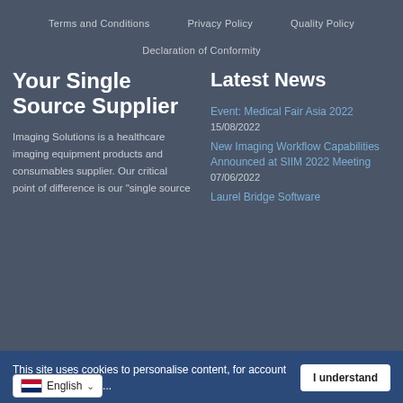Terms and Conditions   Privacy Policy   Quality Policy
Declaration of Conformity
Your Single Source Supplier
Imaging Solutions is a healthcare imaging equipment products and consumables supplier. Our critical point of difference is our "single source
Latest News
Event: Medical Fair Asia 2022
15/08/2022
New Imaging Workflow Capabilities Announced at SIIM 2022 Meeting
07/06/2022
Laurel Bridge Software
This site uses cookies to personalise content, for account features, and to an...